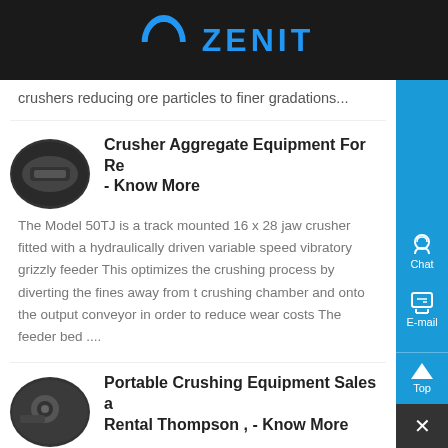ZENIT
crushers reducing ore particles to finer gradations...
Crusher Aggregate Equipment For Re - Know More
The Model 50TJ is a track mounted 16 x 28 jaw crusher fitted with a hydraulically driven variable speed vibratory grizzly feeder This optimizes the crushing process by diverting the fines away from the crushing chamber and onto the output conveyor in order to reduce wear costs The feeder bed ....
Portable Crushing Equipment Sales a Rental Thompson , - Know More
Portable Crushing Equipment enables recycling of